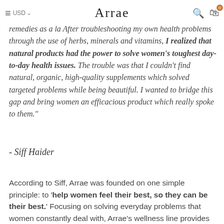≡ USD Arrae 🔍 🛒 0
Ya struggled with health issues for years and turned to ≡ USD remedies as a la Arrae After troubleshooting my own health problems through the use of herbs, minerals and vitamins, I realized that natural products had the power to solve women's toughest day-to-day health issues. The trouble was that I couldn't find natural, organic, high-quality supplements which solved targeted problems while being beautiful. I wanted to bridge this gap and bring women an efficacious product which really spoke to them."
- Siff Haider
According to Siff, Arrae was founded on one simple principle: to 'help women feel their best, so they can be their best.' Focusing on solving everyday problems that women constantly deal with, Arrae's wellness line provides